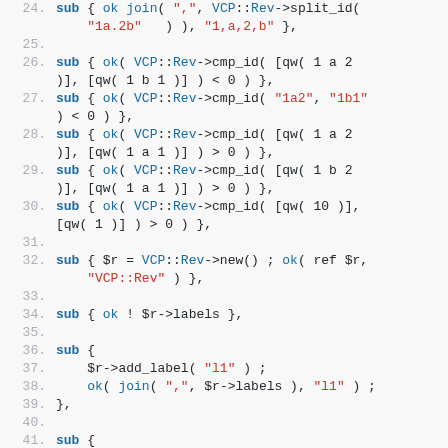Code listing lines 24-41, Perl test code using VCP::Rev module
[Figure (screenshot): Syntax-highlighted Perl source code showing lines 24-41 with test subroutines using VCP::Rev methods such as split_id, cmp_id, new, labels, and add_label]